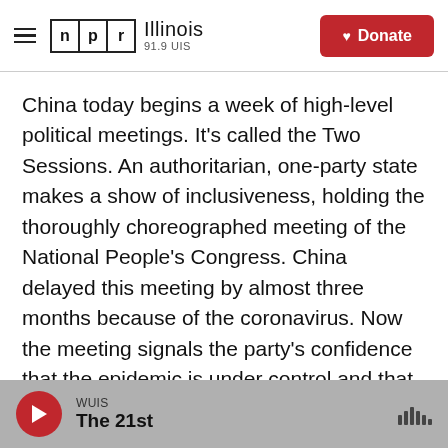NPR Illinois 91.9 UIS | Donate
China today begins a week of high-level political meetings. It's called the Two Sessions. An authoritarian, one-party state makes a show of inclusiveness, holding the thoroughly choreographed meeting of the National People's Congress. China delayed this meeting by almost three months because of the coronavirus. Now the meeting signals the party's confidence that the epidemic is under control and that it's time to save the economy. Here's NPR Beijing correspondent Emily Feng.
WUIS | The 21st